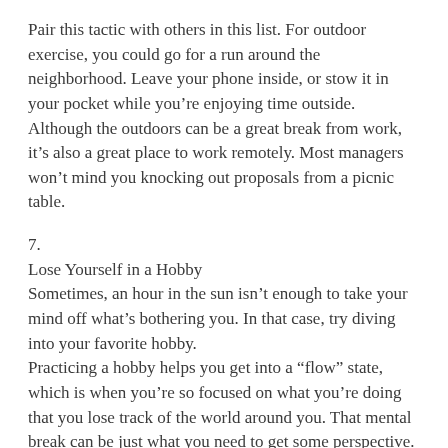Pair this tactic with others in this list. For outdoor exercise, you could go for a run around the neighborhood. Leave your phone inside, or stow it in your pocket while you’re enjoying time outside.
Although the outdoors can be a great break from work, it’s also a great place to work remotely. Most managers won’t mind you knocking out proposals from a picnic table.
7.
Lose Yourself in a Hobby
Sometimes, an hour in the sun isn’t enough to take your mind off what’s bothering you. In that case, try diving into your favorite hobby.
Practicing a hobby helps you get into a “flow” state, which is when you’re so focused on what you’re doing that you lose track of the world around you. That mental break can be just what you need to get some perspective.
As with exercise, what the hobby is isn’t as important as your ability to stick with it. If you don’t have much time or